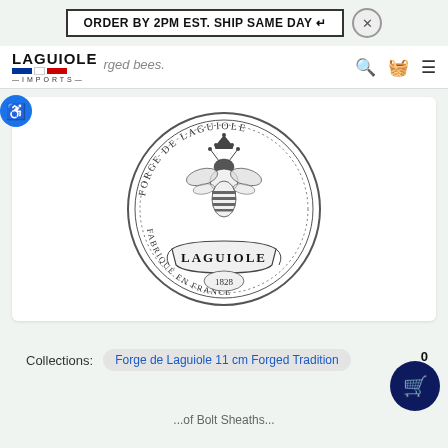ORDER BY 2PM EST. SHIP SAME DAY ↵
[Figure (logo): Laguiole Imports logo with French flag colors and text LAGUIOLE IMPORTS]
forged bees.
[Figure (illustration): Circular seal of Forge de Laguiole showing a bee emblem, text FORGE DE LAGUIOLE around top, LAGUIOLE on banner, 1828 below, FABRIQUÉ EN FRANCE around bottom]
Collections: Forge de Laguiole 11 cm Forged Tradition
0
...of Bolt Sheaths...